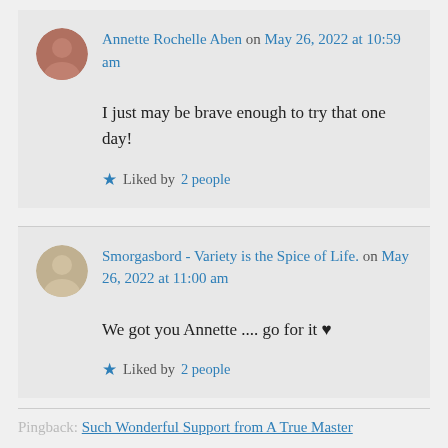Annette Rochelle Aben on May 26, 2022 at 10:59 am
I just may be brave enough to try that one day!
Liked by 2 people
Smorgasbord - Variety is the Spice of Life. on May 26, 2022 at 11:00 am
We got you Annette .... go for it ♥
Liked by 2 people
Pingback: Such Wonderful Support from A True Master